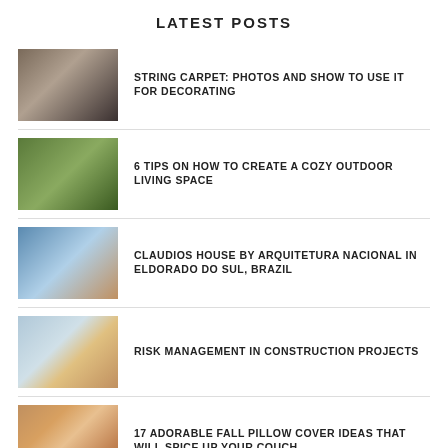LATEST POSTS
STRING CARPET: PHOTOS AND SHOW TO USE IT FOR DECORATING
6 TIPS ON HOW TO CREATE A COZY OUTDOOR LIVING SPACE
CLAUDIOS HOUSE BY ARQUITETURA NACIONAL IN ELDORADO DO SUL, BRAZIL
RISK MANAGEMENT IN CONSTRUCTION PROJECTS
17 ADORABLE FALL PILLOW COVER IDEAS THAT WILL SPICE UP YOUR COUCH
[Figure (illustration): Social media icons: Facebook (blue circle), Pinterest (red circle), Twitter (blue circle)]